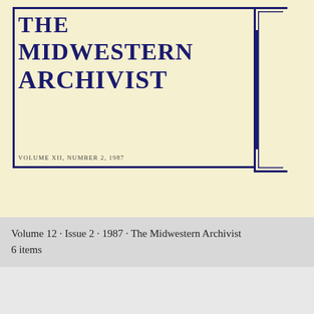[Figure (illustration): Cover of The Midwestern Archivist journal, Volume XII, Number 2, 1987. Cream/yellow background with a decorative dark navy blue border frame with ornamental bracket on right side. Title text in large bold navy blue serif font reading 'THE MIDWESTERN ARCHIVIST'. Below the frame: 'VOLUME XII, NUMBER 2, 1987'.]
Volume 12 · Issue 2 · 1987 · The Midwestern Archivist
6 items